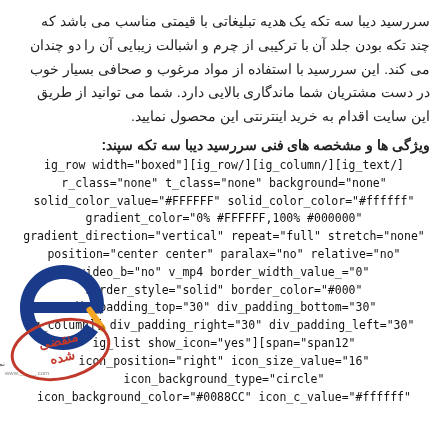سررسید دیبا سه تکه یک هدیه تبلیغاتی با قیمتی مناسب می باشد که چند تکه بودن جلد آن با ترکیبی از چرم و اشبالت زیبایی آن را دو چندان می کند. این سررسید با استفاده از مواد مرغوب و صحافی بسیار خوب در دست مشتریان شما ماندگاری بالایی دارد. شما می توانید از طریق این سایت اقدام به خرید اینترنتی این محصول نمایید.
ویژگی ها و مشخصه های فنی سررسید دیبا سه تکه سپند:
ig_row width="boxed"][ig_row/][ig_column/][ig_text/] r_class="none" t_class="none" background="none" solid_color_value="#FFFFFF" solid_color_color="#ffffff" gradient_color="0% #FFFFFF,100% #000000" gradient_direction="vertical" repeat="full" stretch="none" position="center center" paralax="no" relative="no" video_b="no" v_mp4 border_width_value_="0" border_style="solid" border_color="#000" div_padding_top="30" div_padding_bottom="30" g_column][ div_padding_right="30" div_padding_left="30" ig_list show_icon="yes"][span="span12" icon_position="right" icon_size_value="16" icon_background_type="circle" icon_background_color="#0088CC" icon_c_value="#ffffff"
[Figure (logo): Blue stylized letter e logo with a pen, and a red oval stamp with Persian text منقضی شده, alongside small Persian text for a website]